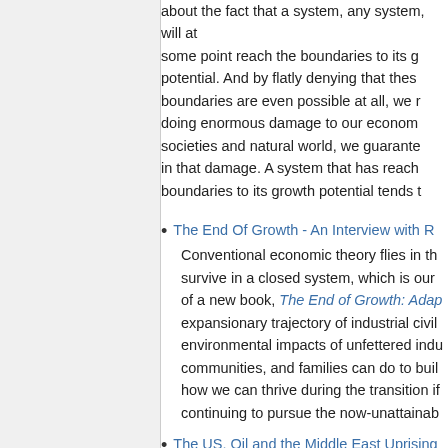about the fact that a system, any system, will at some point reach the boundaries to its growth potential. And by flatly denying that these boundaries are even possible at all, we need doing enormous damage to our economies, societies and natural world, we guarantee in that damage. A system that has reached boundaries to its growth potential tends t
The End Of Growth - An Interview with R
Conventional economic theory flies in the survive in a closed system, which is our of a new book, The End of Growth: Adap expansionary trajectory of industrial civi environmental impacts of unfettered indu communities, and families can do to bui how we can thrive during the transition i continuing to pursue the now-unattainab
The US, Oil and the Middle East Uprising
Media Education Foundation - Michael K